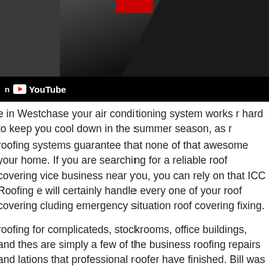[Figure (screenshot): YouTube video thumbnail showing a person in a dark t-shirt near roofing materials, with a YouTube overlay bar at the bottom showing a YouTube logo and text.]
e in Westchase your air conditioning system works r hard to keep you cool down in the summer season, as r roofing systems guarantee that none of that awesome your home. If you are searching for a reliable roof covering vice business near you, you can rely on that ICC Roofing e will certainly handle every one of your roof covering cluding emergency situation roof covering fixing.
roofing for complicateds, stockrooms, office buildings, and thes are simply a few of the business roofing repairs and lations that professional roofer have finished. Bill was a on employee, a roofing contractor, till he was hurt in a